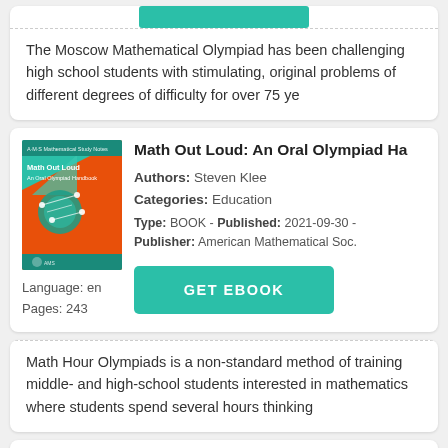The Moscow Mathematical Olympiad has been challenging high school students with stimulating, original problems of different degrees of difficulty for over 75 ye
Math Out Loud: An Oral Olympiad Ha
Authors: Steven Klee
Categories: Education
Type: BOOK - Published: 2021-09-30 - Publisher: American Mathematical Soc.
Language: en
Pages: 243
[Figure (illustration): Book cover of Math Out Loud: An Oral Olympiad Handbook with colorful geometric shapes on teal and orange background]
Math Hour Olympiads is a non-standard method of training middle- and high-school students interested in mathematics where students spend several hours thinking